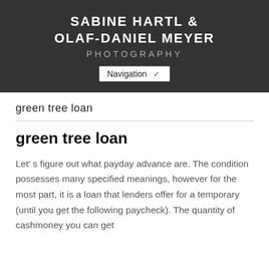SABINE HARTL & OLAF-DANIEL MEYER PHOTOGRAPHY Navigation
green tree loan
green tree loan
Let' s figure out what payday advance are. The condition possesses many specified meanings, however for the most part, it is a loan that lenders offer for a temporary (until you get the following paycheck). The quantity of cashmoney you can get